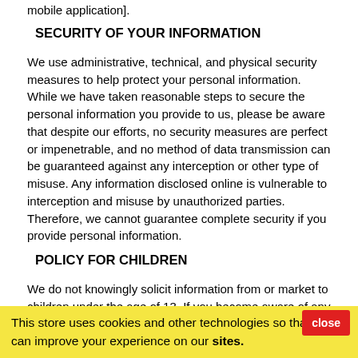mobile application].
SECURITY OF YOUR INFORMATION
We use administrative, technical, and physical security measures to help protect your personal information. While we have taken reasonable steps to secure the personal information you provide to us, please be aware that despite our efforts, no security measures are perfect or impenetrable, and no method of data transmission can be guaranteed against any interception or other type of misuse. Any information disclosed online is vulnerable to interception and misuse by unauthorized parties. Therefore, we cannot guarantee complete security if you provide personal information.
POLICY FOR CHILDREN
We do not knowingly solicit information from or market to children under the age of 13. If you become aware of any
This store uses cookies and other technologies so that we can improve your experience on our sites.
CONTROLS FOR DO-NOT-TRACK FEATURES